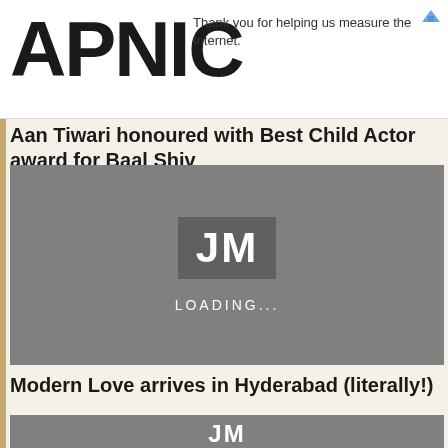APNIC — Thank you for helping us measure the Internet.
Aan Tiwari honoured with Best Child Actor award for Baal Shiv
[Figure (screenshot): Grey image placeholder with 'JM' badge and 'LOADING...' text, indicating a video or image loading state]
Modern Love arrives in Hyderabad (literally!)
[Figure (screenshot): Grey image placeholder with partial 'JM' badge visible at bottom, indicating a video or image loading state]